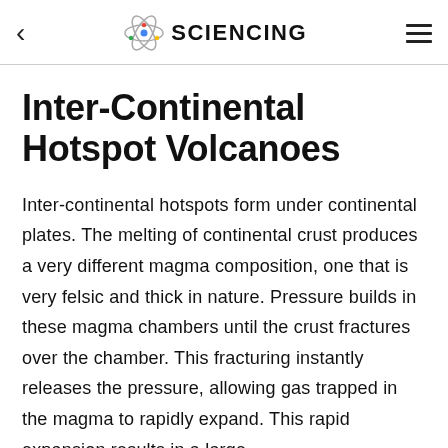SCIENCING
Inter-Continental Hotspot Volcanoes
Inter-continental hotspots form under continental plates. The melting of continental crust produces a very different magma composition, one that is very felsic and thick in nature. Pressure builds in these magma chambers until the crust fractures over the chamber. This fracturing instantly releases the pressure, allowing gas trapped in the magma to rapidly expand. This rapid expansion results in a large,